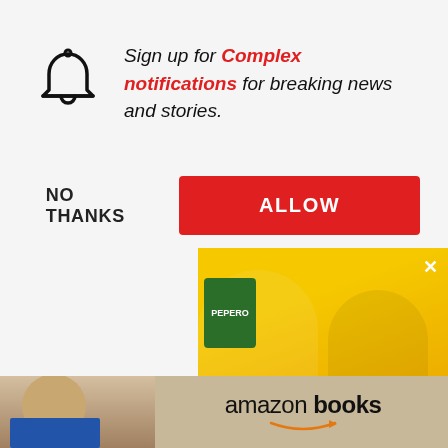Sign up for Complex notifications for breaking news and stories.
NO THANKS
ALLOW
[Figure (screenshot): Snacked advertisement with two smiling people in front of yellow background, Pepero snack box visible, text SNACKED in large white italic letters]
For all of Liefeld's s
moved to Marvel from DC in 1989 to become penciler for T
[Figure (photo): Amazon Books advertisement banner with a bald person reading a book, amazon books text with smile logo]